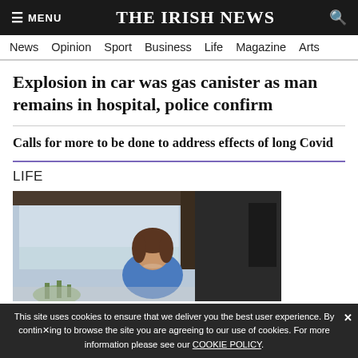≡ MENU   THE IRISH NEWS   🔍
News  Opinion  Sport  Business  Life  Magazine  Arts
Explosion in car was gas canister as man remains in hospital, police confirm
Calls for more to be done to address effects of long Covid
LIFE
[Figure (photo): A woman with short dark hair wearing a blue top, standing in a modern kitchen/room with large windows showing a coastal or lake view in the background.]
This site uses cookies to ensure that we deliver you the best user experience. By continuing to browse the site you are agreeing to our use of cookies. For more information please see our COOKIE POLICY.